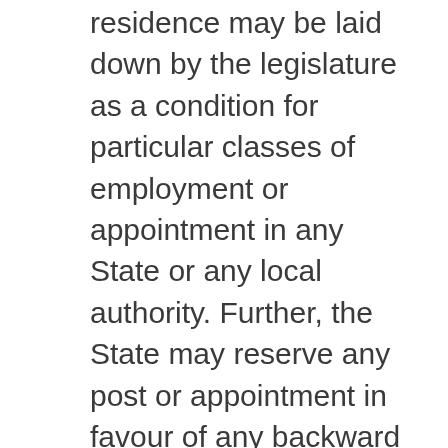residence may be laid down by the legislature as a condition for particular classes of employment or appointment in any State or any local authority. Further, the State may reserve any post or appointment in favour of any backward class of citizens, who, in the opinion of the State, are not adequately represented in the services under that State. In addition, the offices connected with the religious or denominated institutions may be reserved for the members practicing that particular religion.